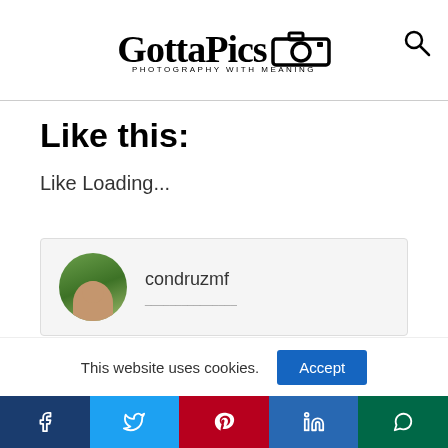GottaPics PHOTOGRAPHY WITH MEANING
Like this:
Like Loading...
condruzmf
This website uses cookies.
[Figure (screenshot): Social share bar with Facebook, Twitter, Pinterest, LinkedIn, and WhatsApp icons]